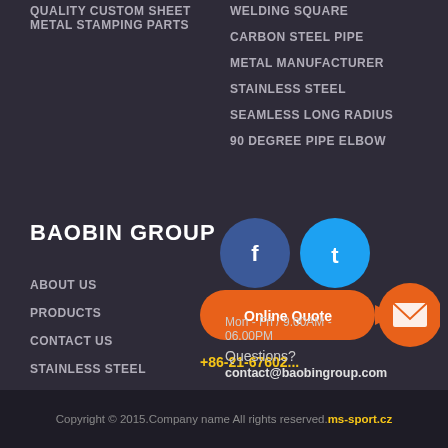QUALITY CUSTOM SHEET METAL STAMPING PARTS
WELDING SQUARE CARBON STEEL PIPE METAL MANUFACTURER
STAINLESS STEEL
SEAMLESS LONG RADIUS
90 DEGREE PIPE ELBOW
BAOBIN GROUP
ABOUT US
PRODUCTS
CONTACT US
STAINLESS STEEL
[Figure (infographic): Social media icons (Facebook blue circle, Twitter cyan circle) and orange Online Quote button with email circle icon, phone number +86-21-67602..., Mon-Fri hours, contact email]
+86-21-67602...
Mon - Fri / 9.00AM - 06.00PM
Questions?
contact@baobingroup.com
Copyright © 2015.Company name All rights reserved.ms-sport.cz